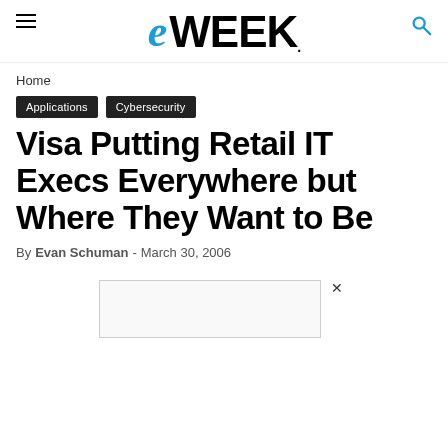eWEEK
Home
Applications   Cybersecurity
Visa Putting Retail IT Execs Everywhere but Where They Want to Be
By Evan Schuman - March 30, 2006